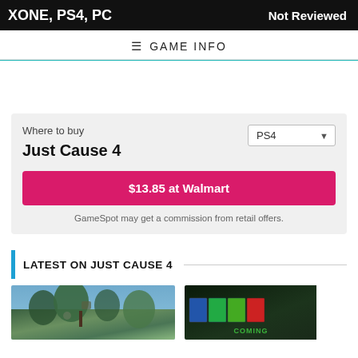XONE, PS4, PC — Not Reviewed
GAME INFO
Where to buy
Just Cause 4
$13.85 at Walmart
PS4
GameSpot may get a commission from retail offers.
LATEST ON JUST CAUSE 4
[Figure (photo): Thumbnail image of Just Cause 4 gameplay showing jungle/outdoor scene]
[Figure (photo): Thumbnail showing game covers collection with COMING label]